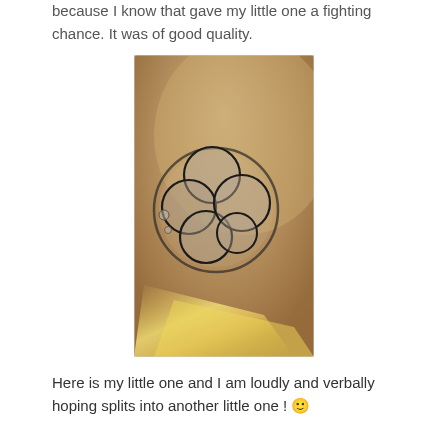because I know that gave my little one a fighting chance. It was of good quality.
[Figure (photo): Microscope image of a human embryo at approximately 4-cell stage, shown inside a circular zona pellucida, with a warm amber/golden background and light reflection visible in the lower portion of the image.]
Here is my little one and I am loudly and verbally hoping splits into another little one ! 🙂